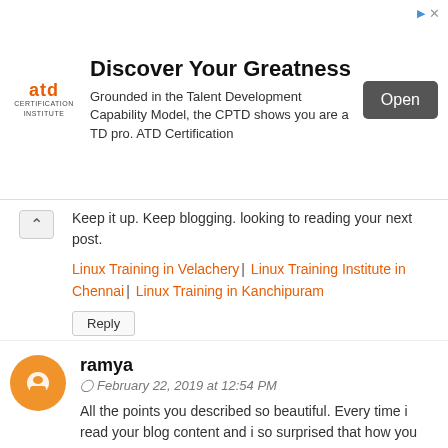[Figure (other): ATD Certification Institute advertisement banner with title 'Discover Your Greatness', logo, body text about CPTD, and an Open button]
Keep it up. Keep blogging. looking to reading your next post.
Linux Training in Velachery | Linux Training Institute in Chennai | Linux Training in Kanchipuram
Reply
ramya
February 22, 2019 at 12:54 PM
All the points you described so beautiful. Every time i read your blog content and i so surprised that how you can write so well.
Blue Prism Training in Velachery | Blue Prism Certification in Velachery | Blue Prism Exam Center in Chennai
Reply
roja